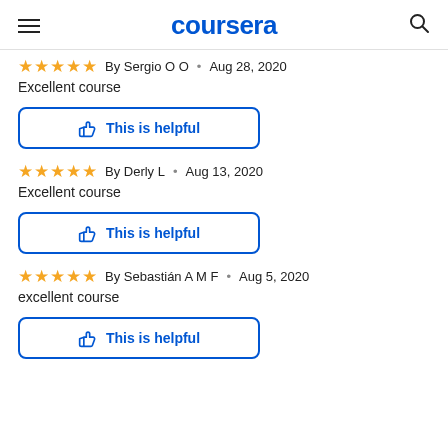coursera
★★★★★  By Sergio O O  •  Aug 28, 2020
Excellent course
[Figure (other): This is helpful button with thumbs up icon]
★★★★★  By Derly L  •  Aug 13, 2020
Excellent course
[Figure (other): This is helpful button with thumbs up icon]
★★★★★  By Sebastián A M F  •  Aug 5, 2020
excellent course
[Figure (other): This is helpful button with thumbs up icon]